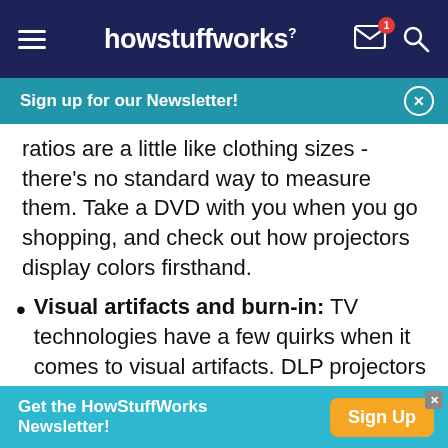howstuffworks
Sign up for our Newsletter!
ratios are a little like clothing sizes - there's no standard way to measure them. Take a DVD with you when you go shopping, and check out how projectors display colors firsthand.
Visual artifacts and burn-in: TV technologies have a few quirks when it comes to visual artifacts. DLP projectors that use only one DMD are prone to the rainbow effect, in which people see a brief rainbow of colors when they move their eyes over the screen. Newer sets have color wheels with more segments
Get the HowStuffWorks Newsletter! Sign Up